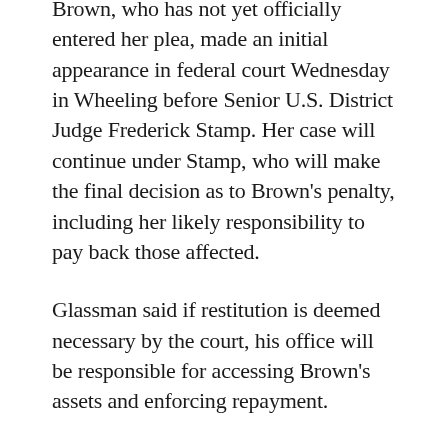Brown, who has not yet officially entered her plea, made an initial appearance in federal court Wednesday in Wheeling before Senior U.S. District Judge Frederick Stamp. Her case will continue under Stamp, who will make the final decision as to Brown's penalty, including her likely responsibility to pay back those affected.
Glassman said if restitution is deemed necessary by the court, his office will be responsible for accessing Brown's assets and enforcing repayment.
He said Brown may “not 100 percent” have the needed funds to restore investors’ losses. He referenced Brown’s actions, using new investor payments to appease prior clients, as a system that ensured some received their money.